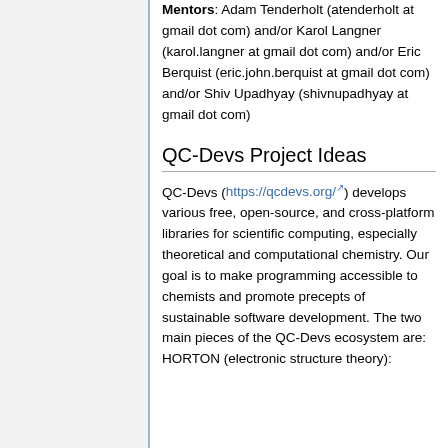Mentors: Adam Tenderholt (atenderholt at gmail dot com) and/or Karol Langner (karol.langner at gmail dot com) and/or Eric Berquist (eric.john.berquist at gmail dot com) and/or Shiv Upadhyay (shivnupadhyay at gmail dot com)
QC-Devs Project Ideas
QC-Devs (https://qcdevs.org/) develops various free, open-source, and cross-platform libraries for scientific computing, especially theoretical and computational chemistry. Our goal is to make programming accessible to chemists and promote precepts of sustainable software development. The two main pieces of the QC-Devs ecosystem are: HORTON (electronic structure theory):